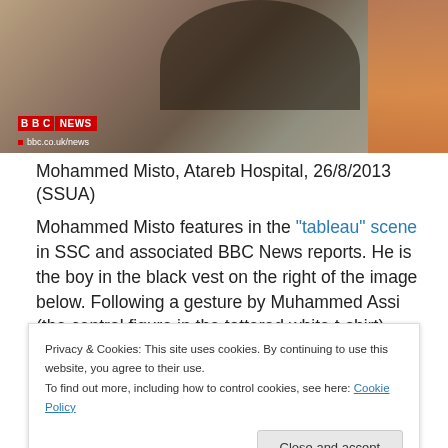[Figure (screenshot): BBC News website screenshot showing a photo at the top with BBC News logo overlay and bbc.co.uk/news URL]
Mohammed Misto, Atareb Hospital, 26/8/2013 (SSUA)
Mohammed Misto features in the "tableau" scene in SSC and associated BBC News reports. He is the boy in the black vest on the right of the image below. Following a gesture by Muhammed Assi (the central figure in the tattered white t-shirt) Mohammed Misto rolls over onto his right then sits back up, glances in the direction of the
Privacy & Cookies: This site uses cookies. By continuing to use this website, you agree to their use.
To find out more, including how to control cookies, see here: Cookie Policy
Close and accept